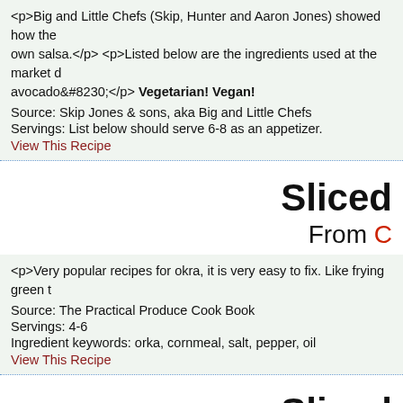<p>Big and Little Chefs (Skip, Hunter and Aaron Jones) showed how the own salsa.</p> <p>Listed below are the ingredients used at the market d avocado&#8230;</p> Vegetarian! Vegan!
Source: Skip Jones & sons, aka Big and Little Chefs
Servings: List below should serve 6-8 as an appetizer.
View This Recipe
Sliced
From C
<p>Very popular recipes for okra, it is very easy to fix. Like frying green t
Source: The Practical Produce Cook Book
Servings: 4-6
Ingredient keywords: orka, cornmeal, salt, pepper, oil
View This Recipe
Sliced
From C